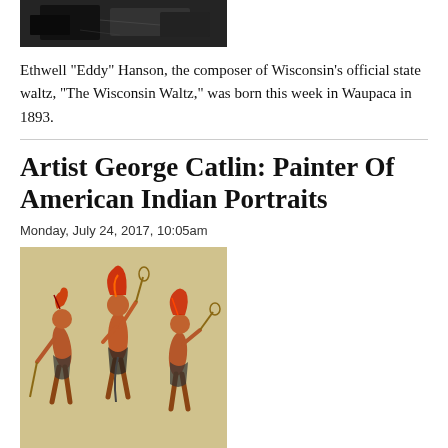[Figure (photo): Black and white photograph, partially cropped at top of page]
Ethwell "Eddy" Hanson, the composer of Wisconsin's official state waltz, "The Wisconsin Waltz," was born this week in Waupaca in 1893.
Artist George Catlin: Painter Of American Indian Portraits
Monday, July 24, 2017, 10:05am
[Figure (illustration): Painting by George Catlin showing three Native American figures in traditional dress holding lacrosse sticks, on a tan/beige background]
Painter George Catlin was born the week of July 26 in 1796. Though he wasn't born in Wisconsin, he spent a substantial amount of time here visiting with the Ojibwe and documenting